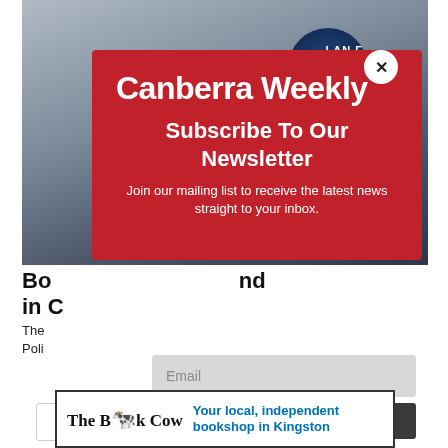[Figure (screenshot): Background photo of a police officer uniform/badge area, blurred, showing a blue badge circle with partial text 'LAN F...' visible]
Canberra Weekly
Subscribe To Our Newsletter
Join our mailing list to receive the latest news straight to your inbox.
Bo... nd in C...
The Poli
[Figure (screenshot): Email input field placeholder and SUBSCRIBE! button]
[Figure (logo): The Book Cow advertisement banner: 'The Book Cow' logo with cow illustration, tagline 'Your local, independent bookshop in Kingston']